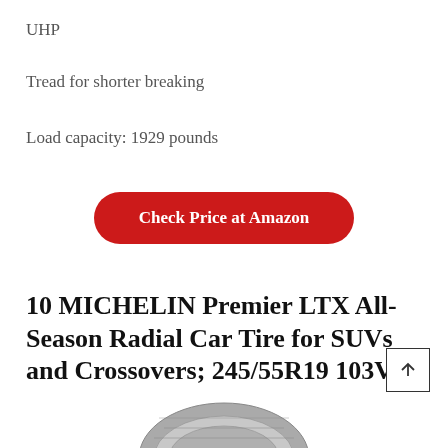UHP
Tread for shorter breaking
Load capacity: 1929 pounds
Check Price at Amazon
10 MICHELIN Premier LTX All-Season Radial Car Tire for SUVs and Crossovers; 245/55R19 103V
[Figure (illustration): Partial view of a MICHELIN tire tread from above, showing the tire's grooved rubber surface]